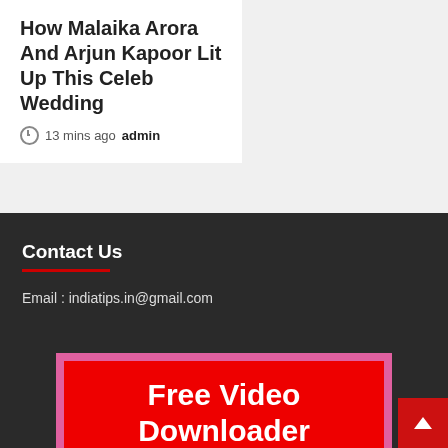How Malaika Arora And Arjun Kapoor Lit Up This Celeb Wedding
13 mins ago  admin
Contact Us
Email : indiatips.in@gmail.com
[Figure (illustration): Red banner with pink border showing text 'Free Video Downloader' in white on red background]